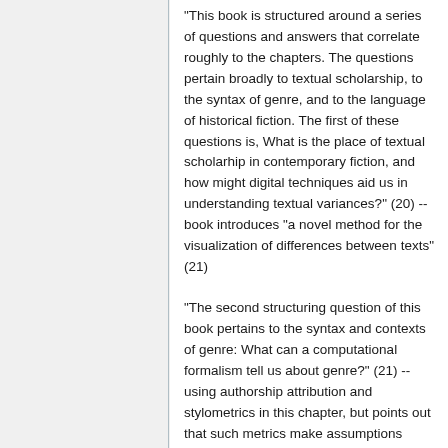"This book is structured around a series of questions and answers that correlate roughly to the chapters. The questions pertain broadly to textual scholarship, to the syntax of genre, and to the language of historical fiction. The first of these questions is, What is the place of textual scholarhip in contemporary fiction, and how might digital techniques aid us in understanding textual variances?" (20) -- book introduces "a novel method for the visualization of differences between texts" (21)
"The second structuring question of this book pertains to the syntax and contexts of genre: What can a computational formalism tell us about genre?" (21) -- using authorship attribution and stylometrics in this chapter, but points out that such metrics make assumptions